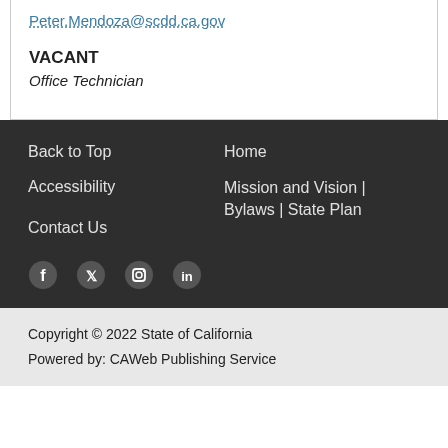Peter.Mendoza@scdd.ca.gov
VACANT
Office Technician
Back to Top
Accessibility
Contact Us
Home
Mission and Vision | Bylaws | State Plan
Copyright © 2022 State of California
Powered by: CAWeb Publishing Service